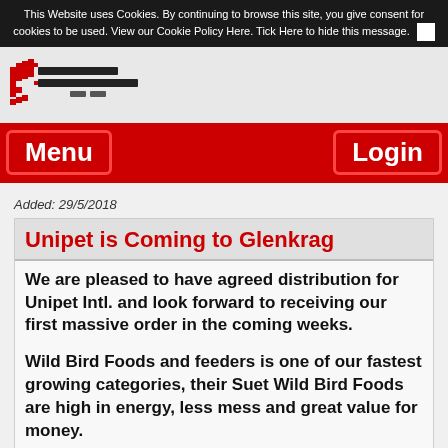This Website uses Cookies. By continuing to browse this site, you give consent for cookies to be used. View our Cookie Policy Here. Tick Here to hide this message.
[Figure (logo): Pixelated red and black logo with text, resembling a company logo for a pet/animal supply distributor]
Menu    Login
Added: 29/5/2018
Unipet is Coming to Glenkrag
We are pleased to have agreed distribution for Unipet Intl. and look forward to receiving our first massive order in the coming weeks.

Wild Bird Foods and feeders is one of our fastest growing categories, their Suet Wild Bird Foods are high in energy, less mess and great value for money.

Unipet is Europes largest manufacturer for wild